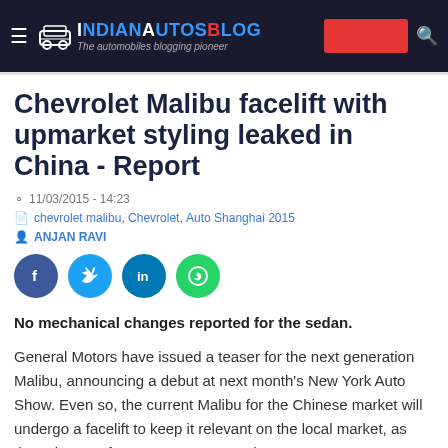IndianAutosBlog – The automobiles blogging pioneer
Chevrolet Malibu facelift with upmarket styling leaked in China - Report
11/03/2015 - 14:23
chevrolet malibu, Chevrolet, Auto Shanghai 2015
ANJAN RAVI
[Figure (infographic): Social share buttons: Facebook, Twitter, LinkedIn, WhatsApp]
No mechanical changes reported for the sedan.
General Motors have issued a teaser for the next generation Malibu, announcing a debut at next month's New York Auto Show. Even so, the current Malibu for the Chinese market will undergo a facelift to keep it relevant on the local market, as these images from AutoHome reveal.